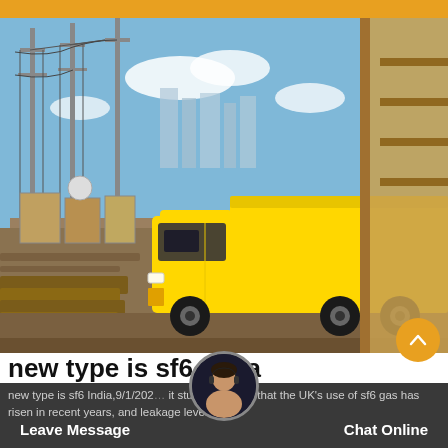[Figure (photo): Yellow utility truck at an electrical substation construction site with power lines, poles, and stacked wood logs in foreground. Right side shows a wooden/metal structure. Blue sky with clouds in background.]
new type is sf6 India
new type is sf6 India,9/1/202... it study suggests that the UK's use of sf6 gas has risen in recent years, and leakage levels
Leave Message   Chat Online